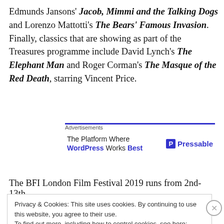Edmunds Jansons' Jacob, Mimmi and the Talking Dogs and Lorenzo Mattotti's The Bears' Famous Invasion. Finally, classics that are showing as part of the Treasures programme include David Lynch's The Elephant Man and Roger Corman's The Masque of the Red Death, starring Vincent Price.
[Figure (other): Advertisement block for Pressable - 'The Platform Where WordPress Works Best']
The BFI London Film Festival 2019 runs from 2nd-13th
Privacy & Cookies: This site uses cookies. By continuing to use this website, you agree to their use. To find out more, including how to control cookies, see here: Cookie Policy